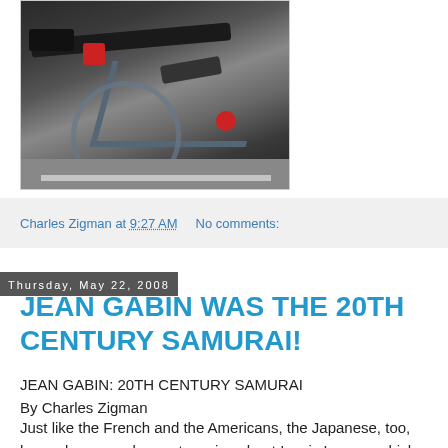[Figure (photo): Close-up photo of bicycle and motorcycle handlebars on a street, with red brake levers visible]
Charles Zigman at 9:27 AM   No comments:
Thursday, May 22, 2008
JEAN GABIN WAS THE 20TH CENTURY SAMURAI!
JEAN GABIN: 20TH CENTURY SAMURAI
By Charles Zigman
Just like the French and the Americans, the Japanese, too, have always made great movies about Iconic Loners, which is why the Japanese continue to respond to Jean Gabin,